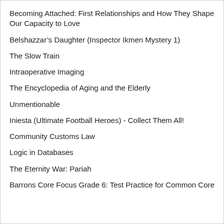Becoming Attached: First Relationships and How They Shape Our Capacity to Love
Belshazzar's Daughter (Inspector Ikmen Mystery 1)
The Slow Train
Intraoperative Imaging
The Encyclopedia of Aging and the Elderly
Unmentionable
Iniesta (Ultimate Football Heroes) - Collect Them All!
Community Customs Law
Logic in Databases
The Eternity War: Pariah
Barrons Core Focus Grade 6: Test Practice for Common Core